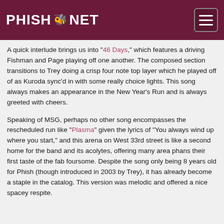PHISH.NET
A quick interlude brings us into "46 Days," which features a driving Fishman and Page playing off one another. The composed section transitions to Trey doing a crisp four note top layer which he played off of as Kuroda sync'd in with some really choice lights. This song always makes an appearance in the New Year's Run and is always greeted with cheers.
Speaking of MSG, perhaps no other song encompasses the rescheduled run like "Plasma" given the lyrics of "You always wind up where you start," and this arena on West 33rd street is like a second home for the band and its acolytes, offering many area phans their first taste of the fab foursome. Despite the song only being 8 years old for Phish (though introduced in 2003 by Trey), it has already become a staple in the catalog. This version was melodic and offered a nice spacey respite.